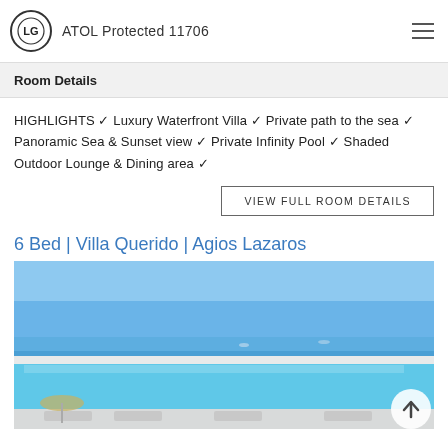ATOL Protected 11706
Room Details
HIGHLIGHTS ✓ Luxury Waterfront Villa ✓ Private path to the sea ✓ Panoramic Sea & Sunset view ✓ Private Infinity Pool ✓ Shaded Outdoor Lounge & Dining area ✓
VIEW FULL ROOM DETAILS
6 Bed | Villa Querido | Agios Lazaros
[Figure (photo): Luxury villa infinity pool overlooking the sea under blue sky, Agios Lazaros area]